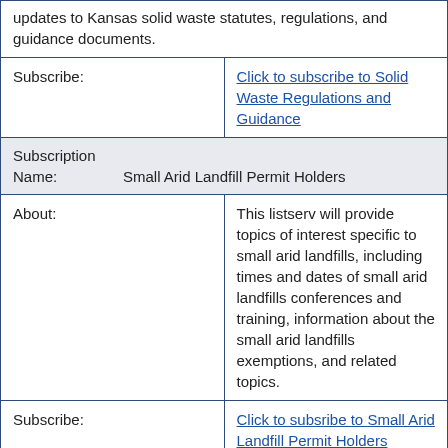| updates to Kansas solid waste statutes, regulations, and guidance documents. |
| Subscribe: | Click to subscribe to Solid Waste Regulations and Guidance |
| Subscription Name: | Small Arid Landfill Permit Holders |
| About: | This listserv will provide topics of interest specific to small arid landfills, including times and dates of small arid landfills conferences and training, information about the small arid landfills exemptions, and related topics. |
| Subscribe: | Click to subsribe to Small Arid Landfill Permit Holders |
| Subscription Name: | Solid Waste Permit Holders |
| About: | This listserv will provide topics of interest for solid waste permit holders, including updates about permit renewals, form updates, |